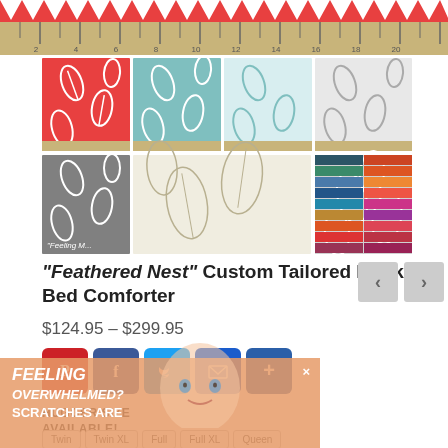[Figure (photo): Ruler with red zigzag fabric pattern along the top]
[Figure (photo): Grid of 8 fabric swatches showing 'Feathered Nest' pattern in coral, teal, white, gray-white, gray, tan, light gray, and a color swatch card]
"Feathered Nest" Custom Tailored Bunk Bed Comforter
$124.95 – $299.95
[Figure (other): Navigation arrows (left/right) for image gallery]
[Figure (other): Social share buttons: Pinterest, Facebook, Twitter, Email, More]
HUGGER SIZE AVAILABLE!
[Figure (other): Overlay advertisement with text 'Feeling Overwhelmed?' and 'Scratches Are']
Twin   Twin XL   Full   Full XL   Queen